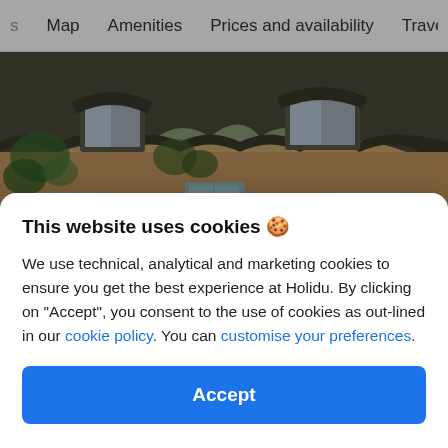s   Map   Amenities   Prices and availability   Travel t
[Figure (photo): A traditional English thatched cottage with yellow Cotswold stone walls, thatched roof dormers, a pale blue front door, and climbing plants on the facade.]
This website uses cookies 🍪
We use technical, analytical and marketing cookies to ensure you get the best experience at Holidu. By clicking on "Accept", you consent to the use of cookies as out-lined in our cookie policy. You can customise your preferences.